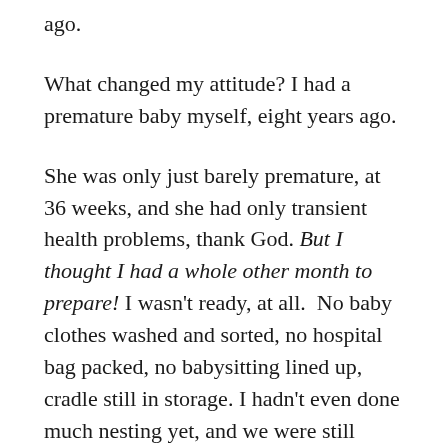ago.
What changed my attitude? I had a premature baby myself, eight years ago.
She was only just barely premature, at 36 weeks, and she had only transient health problems, thank God. But I thought I had a whole other month to prepare! I wasn't ready, at all.  No baby clothes washed and sorted, no hospital bag packed, no babysitting lined up, cradle still in storage. I hadn't even done much nesting yet, and we were still working on names.
But there she was, small and sleepy but very